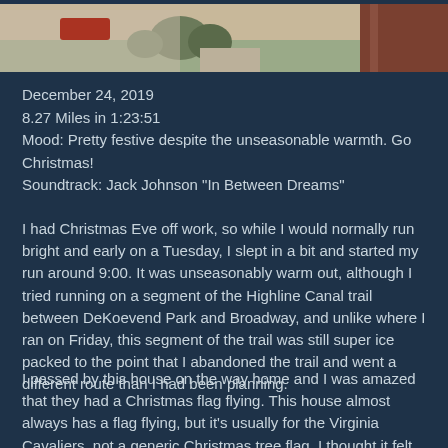[Figure (photo): Partial view of a house exterior with trees, yard, and a brown/maroon curtain or fabric on the right edge. Photo is cropped at top.]
December 24, 2019
8.27 Miles in 1:23:51
Mood: Pretty festive despite the unseasonable warmth. Go Christmas!
Soundtrack: Jack Johnson "In Between Dreams"
I had Christmas Eve off work, so while I would normally run bright and early on a Tuesday, I slept in a bit and started my run around 9:00. It was unseasonably warm out, although I tried running on a segment of the Highline Canal trail between DeKoevend Park and Broadway, and unlike where I ran on Friday, this segment of the trail was still super ice packed to the point that I abandoned the trail and went a different route than I had been planning.
I passed by this house on the way home and I was amazed that they had a Christmas flag flying. This house almost always has a flag flying, but it's usually for the Virginia Cavaliers, not a generic Christmas tree flag. I thought it felt